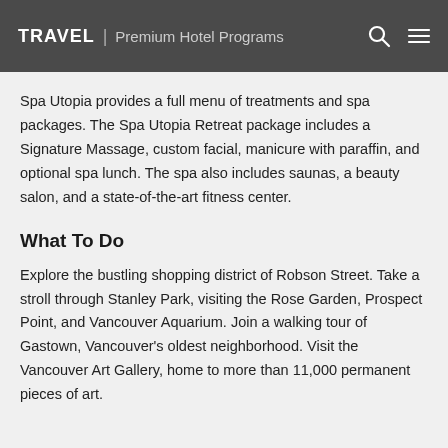TRAVEL | Premium Hotel Programs
Spa Utopia provides a full menu of treatments and spa packages. The Spa Utopia Retreat package includes a Signature Massage, custom facial, manicure with paraffin, and optional spa lunch. The spa also includes saunas, a beauty salon, and a state-of-the-art fitness center.
What To Do
Explore the bustling shopping district of Robson Street. Take a stroll through Stanley Park, visiting the Rose Garden, Prospect Point, and Vancouver Aquarium. Join a walking tour of Gastown, Vancouver's oldest neighborhood. Visit the Vancouver Art Gallery, home to more than 11,000 permanent pieces of art.